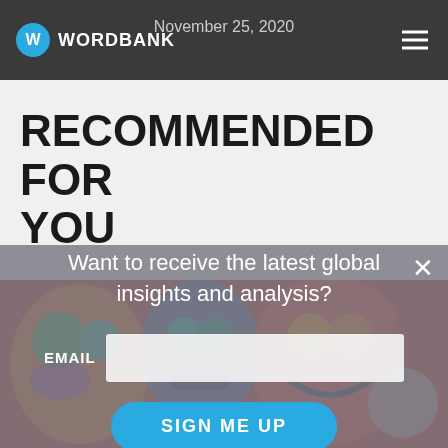WORDBANK  November 25, 2020
RECOMMENDED FOR YOU
[Figure (photo): Colorful illustrated image strip with stylized faces and decorative patterns in red, orange, teal, and blue tones visible beneath the modal overlay]
Want to receive the latest global insights and analysis?
EMAIL
SIGN ME UP